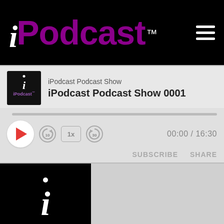iPodcast™
iPodcast Podcast Show
iPodcast Podcast Show 0001
[Figure (screenshot): Audio player controls with progress bar, rewind 10s, 1x speed, forward 30s buttons, and time display 00:00 / 16:30]
SUBSCRIBE   SHARE
[Figure (logo): iPodcast logo on black background with italic i, dot, and purple Podcast wordmark with TM superscript]
iPodcast Podcast Show 0001
May 4, 2019 • 16:30
iPodcast Podcast Show 0001   Inaugural Podcast of iPodcast Podcast...